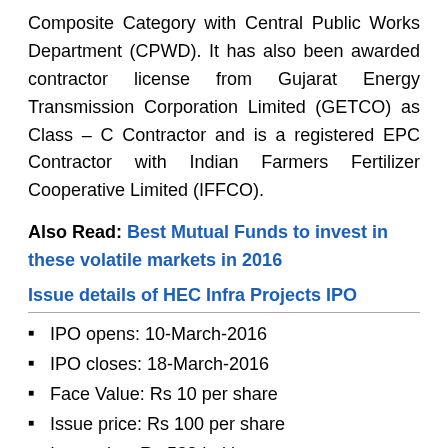Composite Category with Central Public Works Department (CPWD). It has also been awarded contractor license from Gujarat Energy Transmission Corporation Limited (GETCO) as Class – C Contractor and is a registered EPC Contractor with Indian Farmers Fertilizer Cooperative Limited (IFFCO).
Also Read: Best Mutual Funds to invest in these volatile markets in 2016
Issue details of HEC Infra Projects IPO
IPO opens: 10-March-2016
IPO closes: 18-March-2016
Face Value: Rs 10 per share
Issue price: Rs 100 per share
Issue size: Rs 538 Lakhs